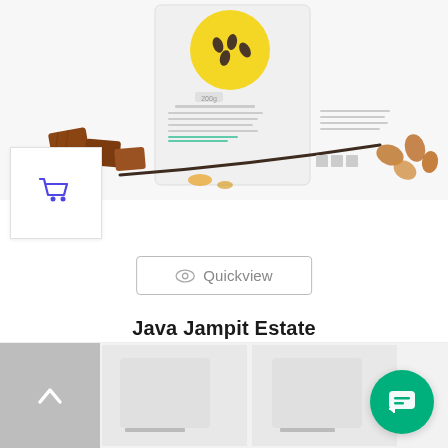[Figure (photo): Coffee product bag with chocolate pieces, vanilla bean, and amber sugar crystals on a white/light background. A yellow circle logo is visible on the bag.]
[Figure (illustration): Shopping cart icon in blue/indigo color inside a white box with border.]
Quickview
Java Jampit Estate
FROM: 10,90€
[Figure (screenshot): Back to top button (upward chevron on grey background) and partial product images in bottom strip.]
[Figure (illustration): Green circular chat/messenger button in bottom right corner.]